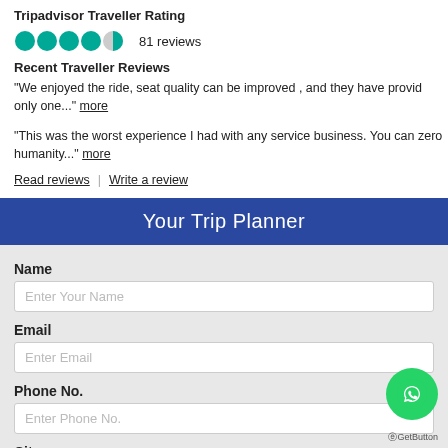Tripadvisor Traveller Rating
81 reviews
Recent Traveller Reviews
“We enjoyed the ride, seat quality can be improved , and they have provid only one...” more
“This was the worst experience I had with any service business. You can zero humanity...” more
Read reviews | Write a review
Your Trip Planner
Name
Enter Your Name
Email
Enter Email
Phone No.
Enter Phone No.
City
AGetButton